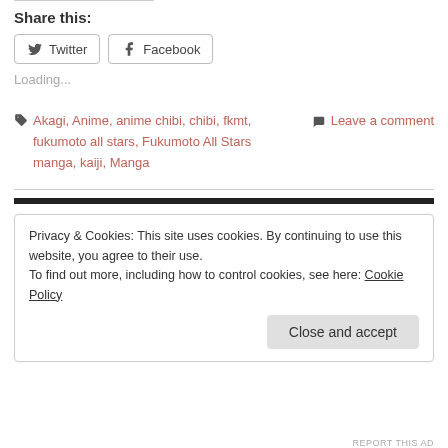Share this:
Twitter   Facebook
Loading...
Akagi, Anime, anime chibi, chibi, fkmt, fukumoto all stars, Fukumoto All Stars manga, kaiji, Manga   Leave a comment
Privacy & Cookies: This site uses cookies. By continuing to use this website, you agree to their use.
To find out more, including how to control cookies, see here: Cookie Policy
Close and accept
REPORT THIS AD